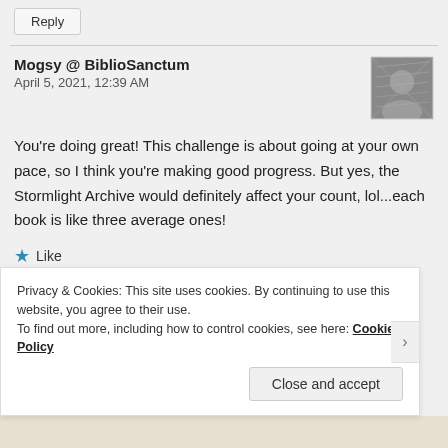Reply
Mogsy @ BiblioSanctum
April 5, 2021, 12:39 AM
[Figure (photo): Avatar image of Mogsy @ BiblioSanctum, grayscale image showing abstract/textured pattern]
You're doing great! This challenge is about going at your own pace, so I think you're making good progress. But yes, the Stormlight Archive would definitely affect your count, lol...each book is like three average ones!
Like
Privacy & Cookies: This site uses cookies. By continuing to use this website, you agree to their use.
To find out more, including how to control cookies, see here: Cookie Policy
Close and accept